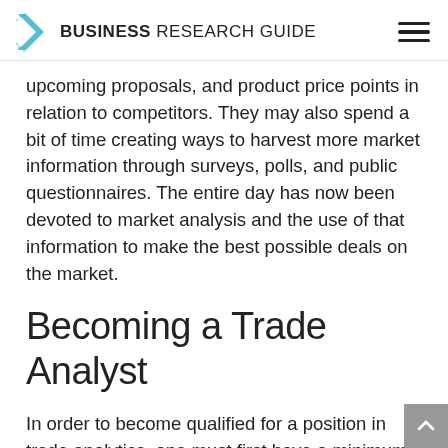BUSINESS RESEARCH GUIDE
upcoming proposals, and product price points in relation to competitors. They may also spend a bit of time creating ways to harvest more market information through surveys, polls, and public questionnaires. The entire day has now been devoted to market analysis and the use of that information to make the best possible deals on the market.
Becoming a Trade Analyst
In order to become qualified for a position in trade analytics, one must first have a minimum of a